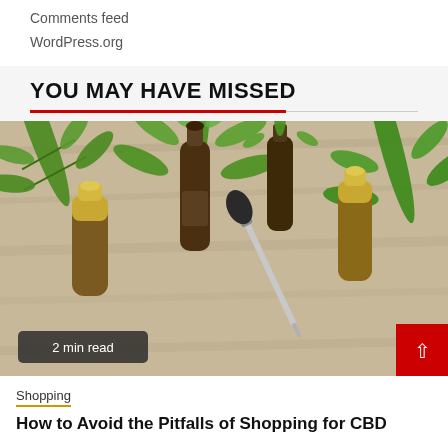Comments feed
WordPress.org
YOU MAY HAVE MISSED
[Figure (photo): Photo of CBD oil dropper bottles with cannabis leaves on a wooden surface, with a '2 min read' badge overlay and a red scroll-to-top button]
Shopping
How to Avoid the Pitfalls of Shopping for CBD